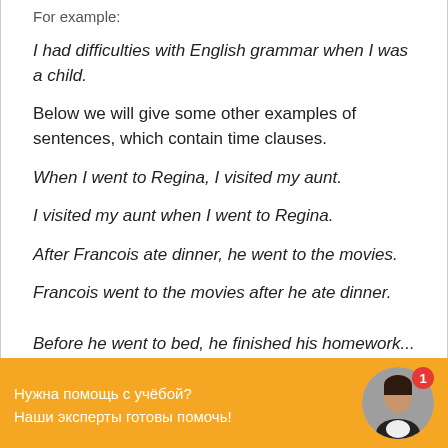For example:
I had difficulties with English grammar when I was a child.
Below we will give some other examples of sentences, which contain time clauses.
When I went to Regina, I visited my aunt.
I visited my aunt when I went to Regina.
After Francois ate dinner, he went to the movies.
Francois went to the movies after he ate dinner.
Before he went to bed, he finished his homework.
Нужна помощь с учёбой?
Наши эксперты готовы помочь!